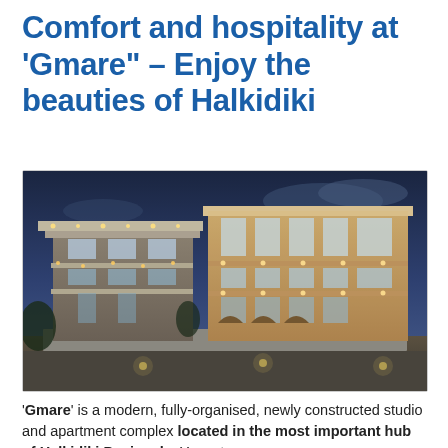Comfort and hospitality at 'Gmare" – Enjoy the beauties of Halkidiki
[Figure (photo): Night-time exterior photo of Gmare apartment complex in Halkidiki, showing a modern multi-storey building illuminated with warm lights against a twilight blue sky.]
'Gmare' is a modern, fully-organised, newly constructed studio and apartment complex located in the most important hub of Halkidiki Peninsula. Your stay